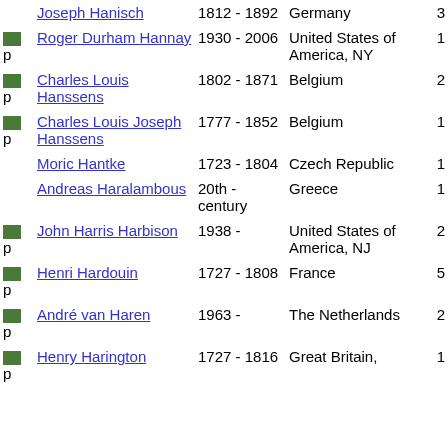|  | Name | Dates | Country | # |
| --- | --- | --- | --- | --- |
|  | Joseph Hanisch | 1812 - 1892 | Germany | 3 |
| p | Roger Durham Hannay | 1930 - 2006 | United States of America, NY | 1 |
| p | Charles Louis Hanssens | 1802 - 1871 | Belgium | 2 |
| p | Charles Louis Joseph Hanssens | 1777 - 1852 | Belgium | 1 |
|  | Moric Hantke | 1723 - 1804 | Czech Republic | 1 |
|  | Andreas Haralambous | 20th - century | Greece | 1 |
| p | John Harris Harbison | 1938 - | United States of America, NJ | 2 |
| p | Henri Hardouin | 1727 - 1808 | France | 5 |
| p | André van Haren | 1963 - | The Netherlands | 2 |
| p | Henry Harington | 1727 - 1816 | Great Britain, | 1 |